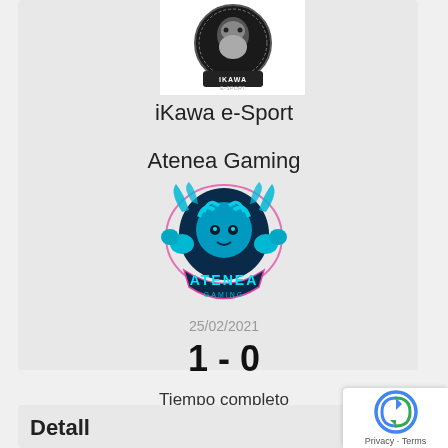[Figure (logo): iKawa e-Sport logo — circular emblem with a bearded warrior figure and text 'IKAWA E-SPORT']
iKawa e-Sport
Atenea Gaming
[Figure (logo): Atenea Gaming logo — blue medusa-style female warrior with snakes/fists, magenta outline shield, text 'ATENEA GAMING']
25/02/2021
1 - 0
Tiempo completo
Detall...